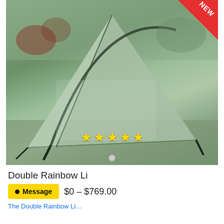[Figure (photo): Outdoor photo of a green/gray double-wall tent pitched on grass with trees in background. A red 'NEW' badge appears in the top-right corner. Five yellow stars are overlaid at the bottom of the photo.]
Double Rainbow Li
Message  $0 – $769.00
The Double Rainbow Li...